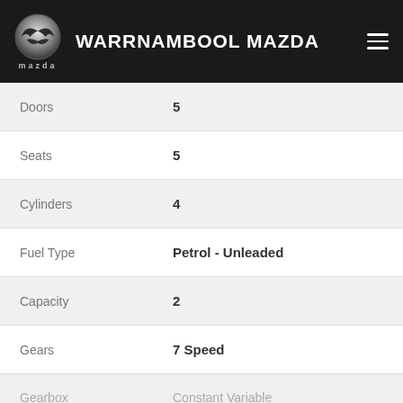WARRNAMBOOL MAZDA
| Attribute | Value |
| --- | --- |
| Doors | 5 |
| Seats | 5 |
| Cylinders | 4 |
| Fuel Type | Petrol - Unleaded |
| Capacity | 2 |
| Gears | 7 Speed |
| Gearbox | Constant Variable |
CONTACT US
FINANCE THIS VEHICLE